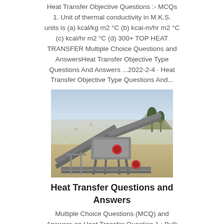Heat Transfer Objective Questions :- MCQs 1. Unit of thermal conductivity in M.K.S. units is (a) kcal/kg m2 °C (b) kcal-m/hr m2 °C (c) kcal/hr m2 °C (d) 300+ TOP HEAT TRANSFER Multiple Choice Questions and AnswersHeat Transfer Objective Type Questions And Answers ...2022-2-4 · Heat Transfer Objective Type Questions And...
[Figure (photo): Industrial conveyor/crusher equipment on a dusty outdoor site with mountains and trees in the background]
Heat Transfer Questions and Answers
Multiple Choice Questions (MCQ) and Answers on Heat Transfer Question 1 : Bulk of the convective heat transfer resistance